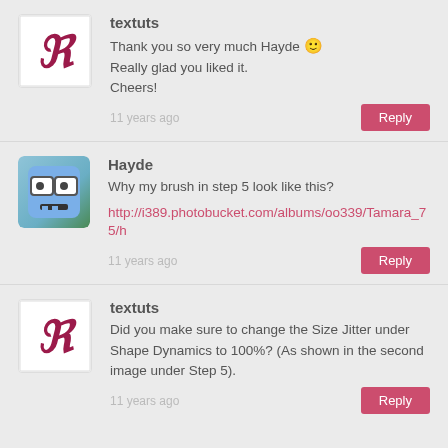[Figure (illustration): textuts avatar - decorative R letter in dark red on white background]
textuts
Thank you so very much Hayde 🙂
Really glad you liked it.
Cheers!
11 years ago
Reply
[Figure (illustration): Hayde avatar - cartoon blue square face with glasses]
Hayde
Why my brush in step 5 look like this?
http://i389.photobucket.com/albums/oo339/Tamara_75/h
11 years ago
Reply
[Figure (illustration): textuts avatar - decorative R letter in dark red on white background]
textuts
Did you make sure to change the Size Jitter under Shape Dynamics to 100%? (As shown in the second image under Step 5).
11 years ago
Reply